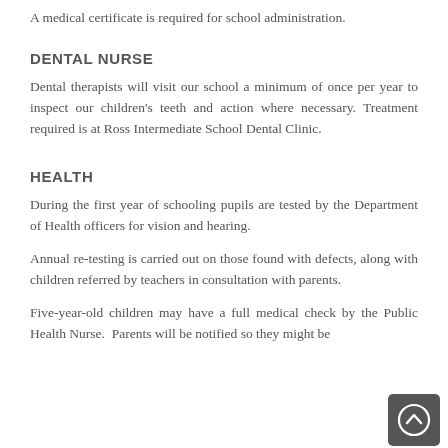A medical certificate is required for school administration.
DENTAL NURSE
Dental therapists will visit our school a minimum of once per year to inspect our children's teeth and action where necessary. Treatment required is at Ross Intermediate School Dental Clinic.
HEALTH
During the first year of schooling pupils are tested by the Department of Health officers for vision and hearing.
Annual re-testing is carried out on those found with defects, along with children referred by teachers in consultation with parents.
Five-year-old children may have a full medical check by the Public Health Nurse. Parents will be notified so they might be